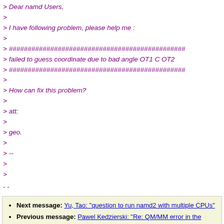> Dear namd Users,
>
> I have following problem, please help me :
>
> ###############################################
> failed to guess coordinate due to bad angle OT1 C OT2
> ###############################################
>
> How can fix this problem?
>
> att:
>
> geo.
>
> --
>
>
- -
Next message: Yu, Tao: "question to run namd2 with multiple CPUs"
Previous message: Pawel Kedzierski: "Re: QM/MM error in the charges"
In reply to: Josh Vermaas: "Re: bad angle error!!"
Next in thread: Josh Vermaas: "Re: bad angle error!!"